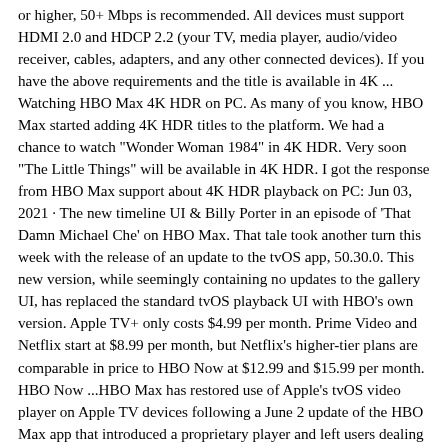or higher, 50+ Mbps is recommended. All devices must support HDMI 2.0 and HDCP 2.2 (your TV, media player, audio/video receiver, cables, adapters, and any other connected devices). If you have the above requirements and the title is available in 4K ... Watching HBO Max 4K HDR on PC. As many of you know, HBO Max started adding 4K HDR titles to the platform. We had a chance to watch "Wonder Woman 1984" in 4K HDR. Very soon "The Little Things" will be available in 4K HDR. I got the response from HBO Max support about 4K HDR playback on PC: Jun 03, 2021 · The new timeline UI & Billy Porter in an episode of 'That Damn Michael Che' on HBO Max. That tale took another turn this week with the release of an update to the tvOS app, 50.30.0. This new version, while seemingly containing no updates to the gallery UI, has replaced the standard tvOS playback UI with HBO's own version. Apple TV+ only costs $4.99 per month. Prime Video and Netflix start at $8.99 per month, but Netflix's higher-tier plans are comparable in price to HBO Now at $12.99 and $15.99 per month. HBO Now ...HBO Max has restored use of Apple's tvOS video player on Apple TV devices following a June 2 update of the HBO Max app that introduced a proprietary player and left users dealing with myriad bugs. ... as well as the inability to turn HDR functionality off when SD content was playing. Broken subtitles and Siri commands were also described in ...Oct 26, 2020 · There's a lot of talk these days about how the iPhone 12, 12 mini, 12 Pro, and 12 Pro Max can shoot Hollywood-quality video with HDR and Dolby Vision. The video processing is really cool when